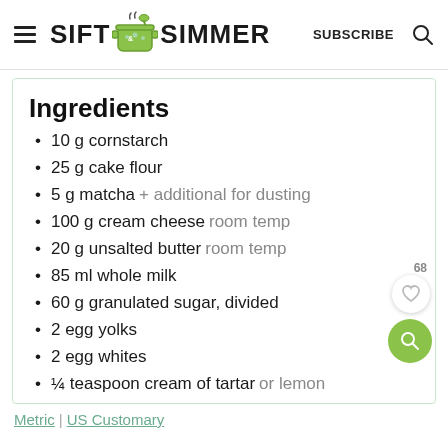SIFT & SIMMER  SUBSCRIBE
Ingredients
10 g cornstarch
25 g cake flour
5 g matcha + additional for dusting
100 g cream cheese room temp
20 g unsalted butter room temp
85 ml whole milk
60 g granulated sugar, divided
2 egg yolks
2 egg whites
¼ teaspoon cream of tartar or lemon juice
Metric | US Customary